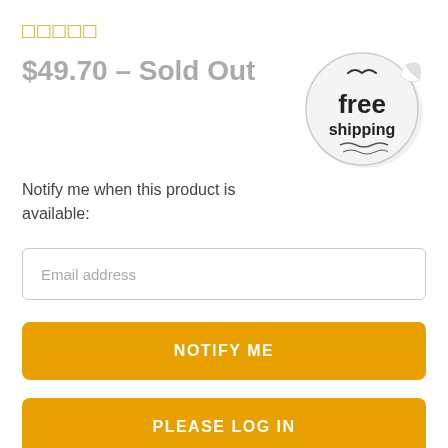★★★★★
$49.70 – Sold Out
[Figure (illustration): Free shipping sticker/badge with peeling corner effect]
Notify me when this product is available:
Email address
NOTIFY ME
PLEASE LOG IN
[Figure (other): Small broken image icon]
Chat with us
Description